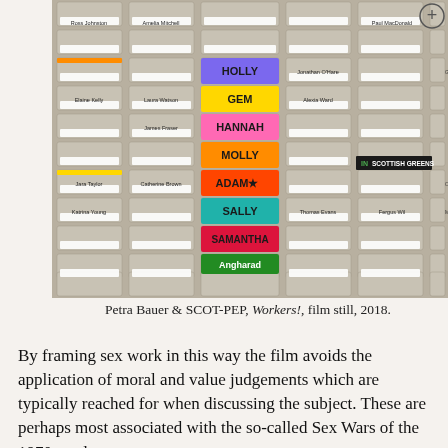[Figure (photo): A photograph of a filing cabinet or mailbox system with many pigeonhole slots. Several slots have colourful name labels reading HOLLY, GEM, HANNAH, MOLLY, ADAM (with star), SALLY, SAMANTHA, Angharad. Other slots show names like Ross Johnston, Amelia Mitchell, Elaine Kelly, Laura Watson, Jara Taylor, Catherine Brown, Katrina Young, Paul MacDonald, Jonathan O'Hare, Alexia Ward, Thomas Evans, Fergus Wil, James Fraser. A black label reads 'IN SCOTTISH GREENS'. A circular plus icon is in the top right.]
Petra Bauer & SCOT-PEP, Workers!, film still, 2018.
By framing sex work in this way the film avoids the application of moral and value judgements which are typically reached for when discussing the subject. These are perhaps most associated with the so-called Sex Wars of the 1970s and